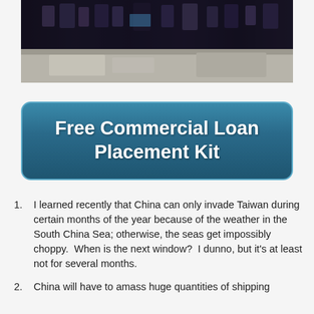[Figure (photo): Dark interior photo of a store or shop showing shelves with products and a light-colored counter in the foreground]
Free Commercial Loan Placement Kit
I learned recently that China can only invade Taiwan during certain months of the year because of the weather in the South China Sea; otherwise, the seas get impossibly choppy.  When is the next window?  I dunno, but it's at least not for several months.
China will have to amass huge quantities of shipping